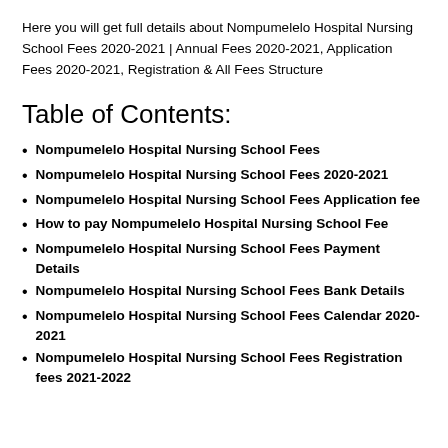Here you will get full details about Nompumelelo Hospital Nursing School Fees 2020-2021 | Annual Fees 2020-2021, Application Fees 2020-2021, Registration & All Fees Structure
Table of Contents:
Nompumelelo Hospital Nursing School Fees
Nompumelelo Hospital Nursing School Fees 2020-2021
Nompumelelo Hospital Nursing School Fees Application fee
How to pay Nompumelelo Hospital Nursing School Fee
Nompumelelo Hospital Nursing School Fees Payment Details
Nompumelelo Hospital Nursing School Fees Bank Details
Nompumelelo Hospital Nursing School Fees Calendar 2020-2021
Nompumelelo Hospital Nursing School Fees Registration fees 2021-2022